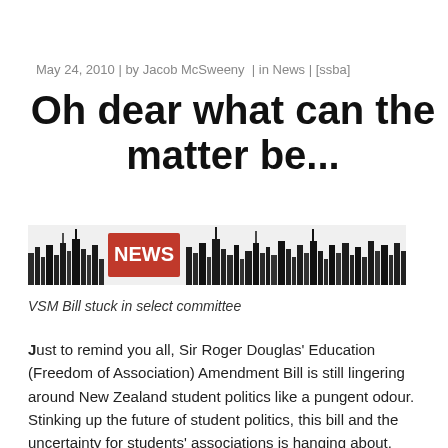May 24, 2010 | by Jacob McSweeny  | in News | [ssba]
Oh dear what can the matter be...
[Figure (illustration): News banner graphic with cityscape silhouette and red NEWS text label]
VSM Bill stuck in select committee
Just to remind you all, Sir Roger Douglas' Education (Freedom of Association) Amendment Bill is still lingering around New Zealand student politics like a pungent odour. Stinking up the future of student politics, this bill and the uncertainty for students' associations is hanging about.